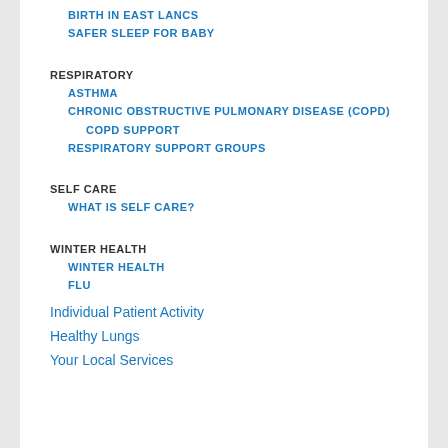BIRTH IN EAST LANCS
SAFER SLEEP FOR BABY
RESPIRATORY
ASTHMA
CHRONIC OBSTRUCTIVE PULMONARY DISEASE (COPD)
COPD SUPPORT
RESPIRATORY SUPPORT GROUPS
SELF CARE
WHAT IS SELF CARE?
WINTER HEALTH
WINTER HEALTH
FLU
Individual Patient Activity
Healthy Lungs
Your Local Services